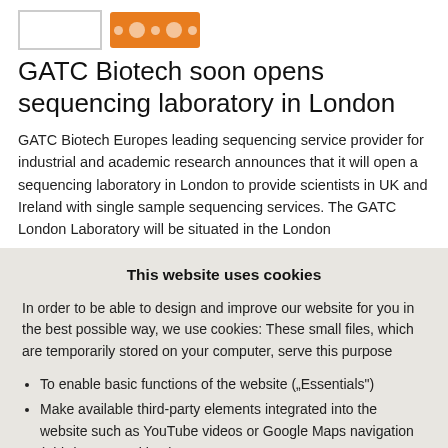[Figure (logo): White box logo placeholder and orange logo with dots]
GATC Biotech soon opens sequencing laboratory in London
GATC Biotech Europes leading sequencing service provider for industrial and academic research announces that it will open a sequencing laboratory in London to provide scientists in UK and Ireland with single sample sequencing services. The GATC London Laboratory will be situated in the London
This website uses cookies
In order to be able to design and improve our website for you in the best possible way, we use cookies: These small files, which are temporarily stored on your computer, serve this purpose
To enable basic functions of the website („Essentials“)
Make available third-party elements integrated into the website such as YouTube videos or Google Maps navigation („third-party cookies“)
To operate statistical and tracking tools to understand how site visitors use the site and to implement